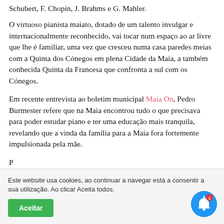Schubert, F. Chopin, J. Brahms e G. Mahler.
O virtuoso pianista maiato, dotado de um talento invulgar e internacionalmente reconhecido, vai tocar num espaço ao ar livre que lhe é familiar, uma vez que cresceu numa casa paredes meias com a Quinta dos Cónegos em plena Cidade da Maia, a também conhecida Quinta da Francesa que confronta a sul com os Cónegos.
Em recente entrevista ao boletim municipal Maia On, Pedro Burmester refere que na Maia encontrou tudo o que precisava para poder estudar piano e ter uma educação mais tranquila, revelando que a vinda da família para a Maia fora fortemente impulsionada pela mãe.
P...
Este website usa cookies, ao continuar a navegar está a consentir a sua utilização. Ao clicar Aceita todos.